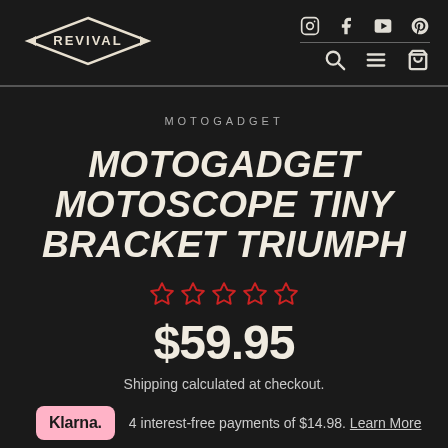[Figure (logo): Revival Cycles diamond-shaped logo in white on dark background]
[Figure (infographic): Social media icons (Instagram, Facebook, YouTube, Pinterest) and navigation icons (search, menu, cart) on dark header]
MOTOGADGET
MOTOGADGET MOTOSCOPE TINY BRACKET TRIUMPH
[Figure (infographic): Five empty star rating icons in red/crimson outline]
$59.95
Shipping calculated at checkout.
4 interest-free payments of $14.98. Learn More